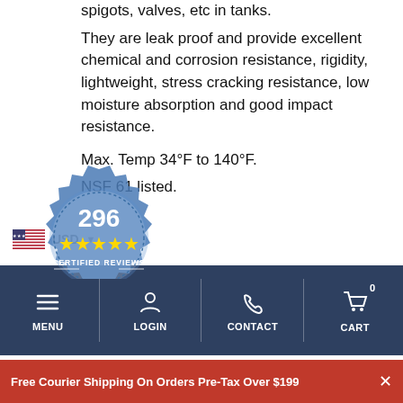spigots, valves, etc in tanks.
They are leak proof and provide excellent chemical and corrosion resistance, rigidity, lightweight, stress cracking resistance, low moisture absorption and good impact resistance.
Max. Temp 34°F to 140°F.
NSF 61 listed.
[Figure (logo): Certified Reviews badge showing 296 reviews with 5 stars, powered by Yot]
MENU | LOGIN | CONTACT | CART 0
Free Courier Shipping On Orders Pre-Tax Over $199